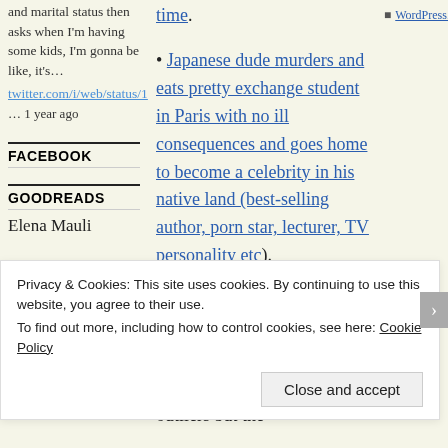and marital status then asks when I'm having some kids, I'm gonna be like, it's…
twitter.com/i/web/status/1 … 1 year ago
time.
Japanese dude murders and eats pretty exchange student in Paris with no ill consequences and goes home to become a celebrity in his native land (best-selling author, porn star, lecturer, TV personality etc).
WordPress.com
FACEBOOK
Are you advocating for the destruction of the human species yet?  What's so fucked up is not only these freaky outliers but the
GOODREADS
Elena Mauli
Privacy & Cookies: This site uses cookies. By continuing to use this website, you agree to their use.
To find out more, including how to control cookies, see here: Cookie Policy
Close and accept